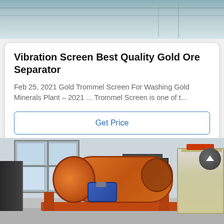[Figure (photo): Partial top view of an industrial facility interior, light blue/grey tones showing ceiling and equipment]
Vibration Screen Best Quality Gold Ore Separator
Feb 25, 2021 Gold Trommel Screen For Washing Gold Minerals Plant – 2021 ... Trommel Screen is one of t...
Get Price
[Figure (photo): Industrial trommel screen machine with large orange cylindrical drum on orange frame with blue motor, back machinery, and a yellow crusher on the right side, inside a factory building]